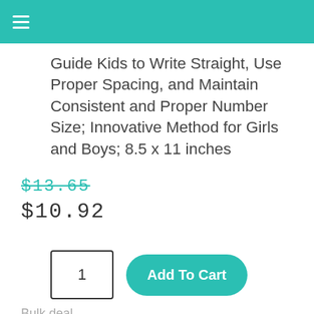☰
Guide Kids to Write Straight, Use Proper Spacing, and Maintain Consistent and Proper Number Size; Innovative Method for Girls and Boys; 8.5 x 11 inches
$13.65
$10.92
1
Add To Cart
Bulk deal
| Quantity | Discount | Discounted |
| --- | --- | --- |